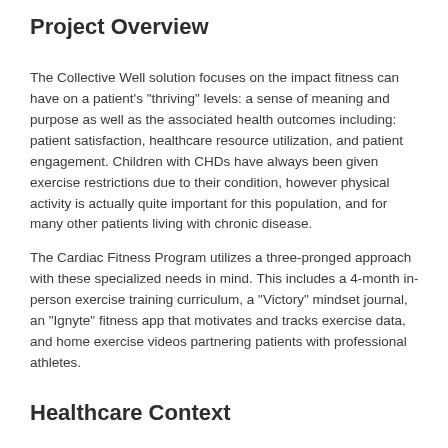Project Overview
The Collective Well solution focuses on the impact fitness can have on a patient's "thriving" levels: a sense of meaning and purpose as well as the associated health outcomes including: patient satisfaction, healthcare resource utilization, and patient engagement. Children with CHDs have always been given exercise restrictions due to their condition, however physical activity is actually quite important for this population, and for many other patients living with chronic disease.
The Cardiac Fitness Program utilizes a three-pronged approach with these specialized needs in mind. This includes a 4-month in-person exercise training curriculum, a "Victory" mindset journal, an "Ignyte" fitness app that motivates and tracks exercise data, and home exercise videos partnering patients with professional athletes.
Healthcare Context